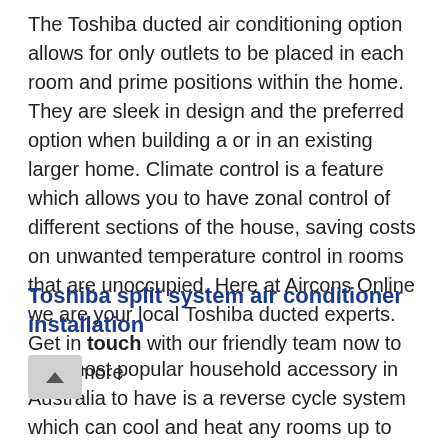The Toshiba ducted air conditioning option allows for only outlets to be placed in each room and prime positions within the home. They are sleek in design and the preferred option when building a or in an existing larger home. Climate control is a feature which allows you to have zonal control of different sections of the house, saving costs on unwanted temperature control in rooms that are unoccupied. Here at Aircons Online we are your local Toshiba ducted experts. Get in touch with our friendly team now to learn more
Toshiba split system air conditioner installation
The most popular household accessory in Australia to have is a reverse cycle system which can cool and heat any rooms up to almost any size. It is the practical